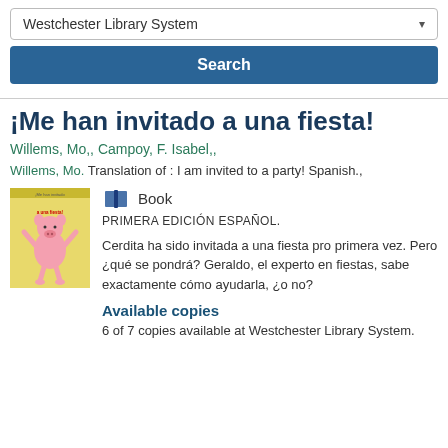Westchester Library System
Search
¡Me han invitado a una fiesta!
Willems, Mo,, Campoy, F. Isabel,,
Willems, Mo. Translation of : I am invited to a party! Spanish.,
[Figure (illustration): Book cover of ¡Me han invitado a una fiesta! showing a pink pig character jumping with arms raised against a yellow background]
Book
PRIMERA EDICIÓN ESPAÑOL.
Cerdita ha sido invitada a una fiesta pro primera vez. Pero ¿qué se pondrá? Geraldo, el experto en fiestas, sabe exactamente cómo ayudarla, ¿o no?
Available copies
6 of 7 copies available at Westchester Library System.